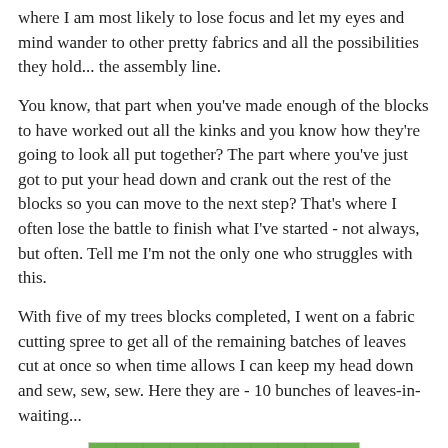where I am most likely to lose focus and let my eyes and mind wander to other pretty fabrics and all the possibilities they hold... the assembly line.
You know, that part when you've made enough of the blocks to have worked out all the kinks and you know how they're going to look all put together? The part where you've just got to put your head down and crank out the rest of the blocks so you can move to the next step? That's where I often lose the battle to finish what I've started - not always, but often. Tell me I'm not the only one who struggles with this.
With five of my trees blocks completed, I went on a fabric cutting spree to get all of the remaining batches of leaves cut at once so when time allows I can keep my head down and sew, sew, sew. Here they are - 10 bunches of leaves-in-waiting...
[Figure (photo): A photo of colorful fabric bunches arranged in groups on a green cutting mat — 10 bunches of leaves-in-waiting showing various patterned fabrics including stripes, florals, and prints in pink, purple, green, blue, orange, and teal.]